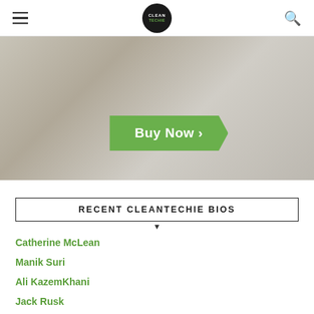CLEANTECHIE (logo) | hamburger menu | search
[Figure (photo): Woman wearing a white t-shirt with a Cleantechie logo, with a green 'Buy Now >' button overlaid on the image]
RECENT CLEANTECHIE BIOS
Catherine McLean
Manik Suri
Ali KazemKhani
Jack Rusk